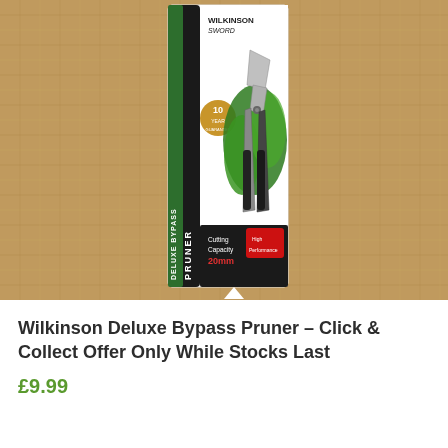[Figure (photo): Photo of a Wilkinson Sword Deluxe Bypass Pruner product in its packaging. The package is white and green with the product name 'DELUXE BYPASS PRUNER' written vertically on the left side. It shows a 10 Year Guarantee badge, Cutting Capacity 20mm label, and a red 'High Performance' badge. The pruner itself (silver/black secateurs) is visible inside the clear packaging. The background is a burlap/hessian fabric texture.]
Wilkinson Deluxe Bypass Pruner – Click & Collect Offer Only While Stocks Last
£9.99